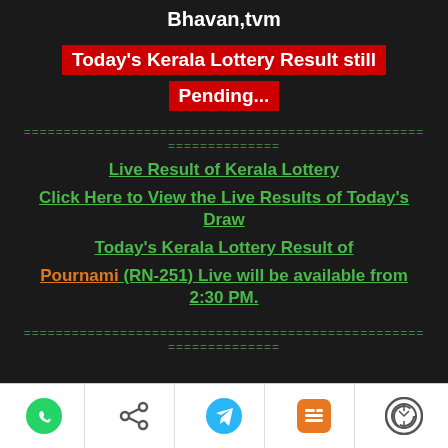Bhavan,tvm
Today's Kerala Lottery Result still Pending...
================================================================
Live Result of Kerala Lottery
Click Here to View the Live Results of Today's Draw
Today's Kerala Lottery Result of
Pournami (RN-251) Live will be available from 2:30 PM.
================================================================